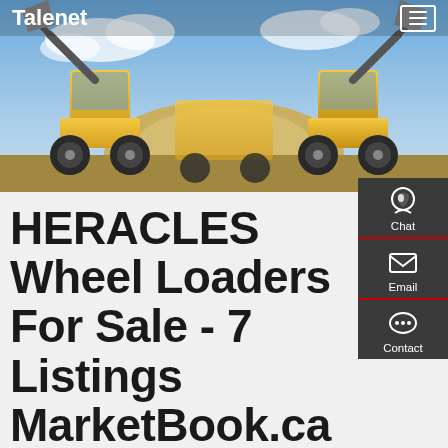Talenet
[Figure (photo): Two yellow wheel loaders facing each other with raised buckets against a blue sky, on a construction/mining site with sand/dirt mound in the background]
HERACLES Wheel Loaders For Sale - 7 Listings MarketBook.ca
Chat
Email
Contact